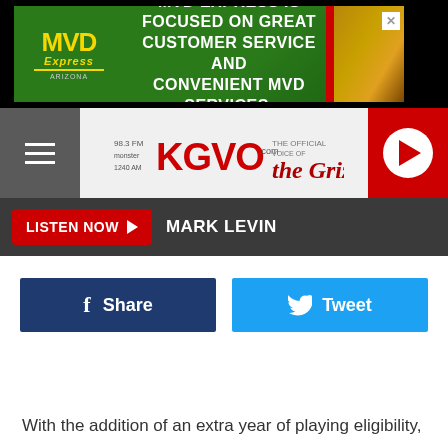[Figure (screenshot): MVD Express advertisement banner with green background. Text: MVD EXPRESS IS FOCUSED ON GREAT CUSTOMER SERVICE AND CONVENIENT MVD SERVICES.]
[Figure (logo): KGVO 98.3 FM / 1240 AM radio station logo with The Griz logo]
LISTEN NOW ▶  MARK LEVIN
[Figure (infographic): Facebook Share button (dark blue) and Twitter Tweet button (light blue)]
With the addition of an extra year of playing eligibility,